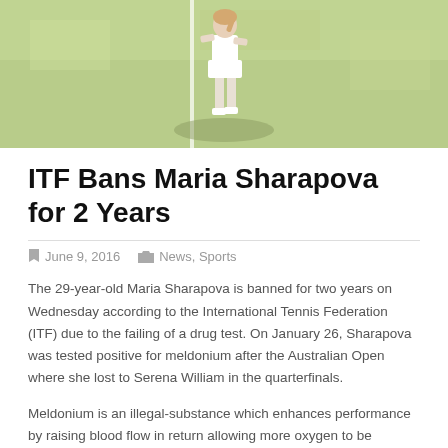[Figure (photo): Tennis player on grass court, viewed from behind/side, wearing white outfit, sunny day]
ITF Bans Maria Sharapova for 2 Years
June 9, 2016   News, Sports
The 29-year-old Maria Sharapova is banned for two years on Wednesday according to the International Tennis Federation (ITF) due to the failing of a drug test. On January 26, Sharapova was tested positive for meldonium after the Australian Open where she lost to Serena William in the quarterfinals.
Meldonium is an illegal-substance which enhances performance by raising blood flow in return allowing more oxygen to be present in muscles. The World Anti-Doping Agency banned the usage of meldonium since January 1.
Sharapova started intake of the drug for medical reasons in 2006